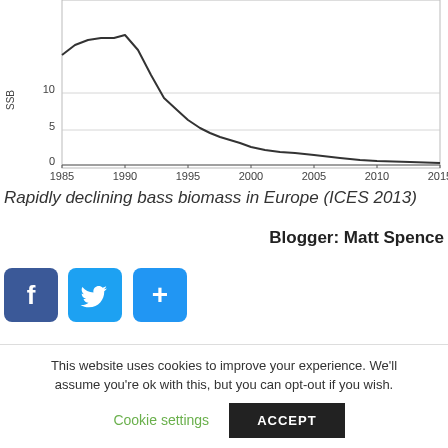[Figure (continuous-plot): Line chart showing rapidly declining bass biomass in Europe (ICES 2013). X-axis: years 1985-2015, Y-axis: values 0-10+. The line peaks around 1990 and declines sharply thereafter.]
Rapidly declining bass biomass in Europe (ICES 2013)
Blogger: Matt Spence
[Figure (infographic): Social sharing buttons: Facebook (blue f), Twitter (blue bird), and a share button (blue +)]
[Figure (photo): A beige-background section with an envelope/mail icon image on the left and a sky photo on the right]
This website uses cookies to improve your experience. We'll assume you're ok with this, but you can opt-out if you wish.
Cookie settings   ACCEPT